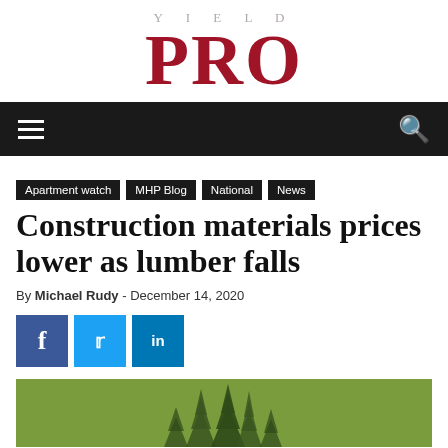YIELD PRO
Apartment watch
MHP Blog
National
News
Construction materials prices lower as lumber falls
By Michael Rudy - December 14, 2020
[Figure (illustration): Green forest/lumber illustration with pine trees silhouette on olive-green background]